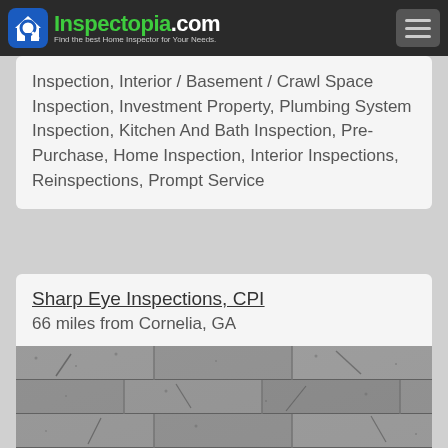Inspectopia.com — Find the best Home Inspector for Your Needs.
Inspection, Interior / Basement / Crawl Space Inspection, Investment Property, Plumbing System Inspection, Kitchen And Bath Inspection, Pre-Purchase, Home Inspection, Interior Inspections, Reinspections, Prompt Service
Sharp Eye Inspections, CPI
66 miles from Cornelia, GA
[Figure (photo): Close-up photo of asphalt roof shingles, gray in color, showing overlapping rows with visible wear lines and minor cracking.]